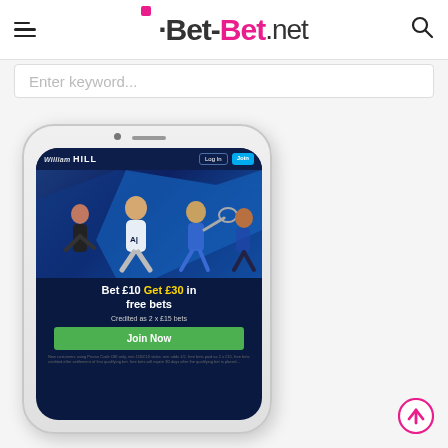Bet-Bet.net — navigation header with hamburger menu and search icon
Enter keyword...
[Figure (screenshot): William Hill mobile app screenshot shown inside a phone mockup. Screen shows William Hill branding, athletes, and promotional text: Bet £10 Get £30 in free bets, Credited as 2 x £15 bets, Join Now button, and small print disclaimer.]